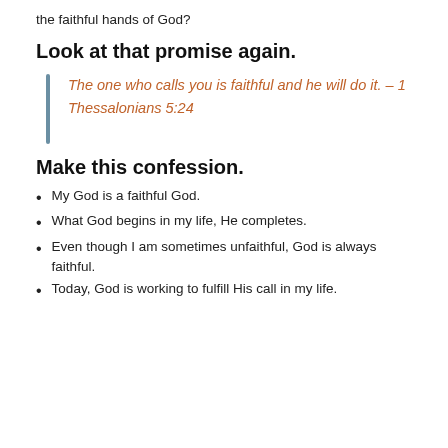the faithful hands of God?
Look at that promise again.
The one who calls you is faithful and he will do it. – 1 Thessalonians 5:24
Make this confession.
My God is a faithful God.
What God begins in my life, He completes.
Even though I am sometimes unfaithful, God is always faithful.
Today, God is working to fulfill His call in my life.